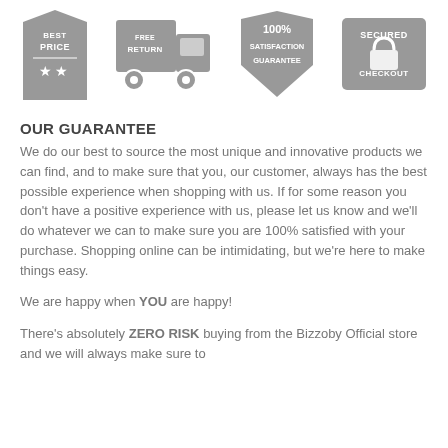[Figure (infographic): Four trust badge icons: Best Price (price tag shape), Free Return (delivery truck), 100% Satisfaction Guarantee (shield), Secured Checkout (rectangle)]
OUR GUARANTEE
We do our best to source the most unique and innovative products we can find, and to make sure that you, our customer, always has the best possible experience when shopping with us. If for some reason you don't have a positive experience with us, please let us know and we'll do whatever we can to make sure you are 100% satisfied with your purchase. Shopping online can be intimidating, but we're here to make things easy.
We are happy when YOU are happy!
There's absolutely ZERO RISK buying from the Bizzoby Official store and we will always make sure to